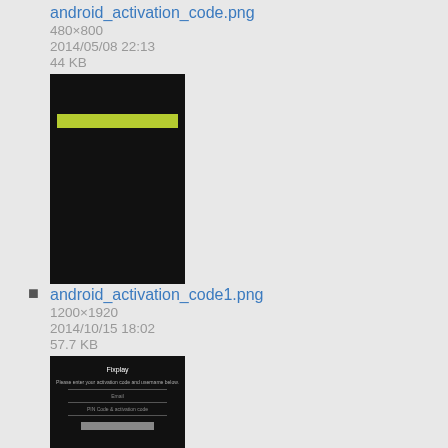android_activation_code.png
480×800
2014/05/08 22:13
44 KB
[Figure (screenshot): Thumbnail of android_activation_code.png: dark/black Android screen with a yellow-green button bar]
android_activation_code1.png
1200×1920
2014/10/15 18:02
57.7 KB
[Figure (screenshot): Thumbnail of android_activation_code1.png: dark Android screen showing a Fixplay activation/pairing form]
android_activation_code2.png
1200×1920
2014/10/15 18:03
70.1 KB